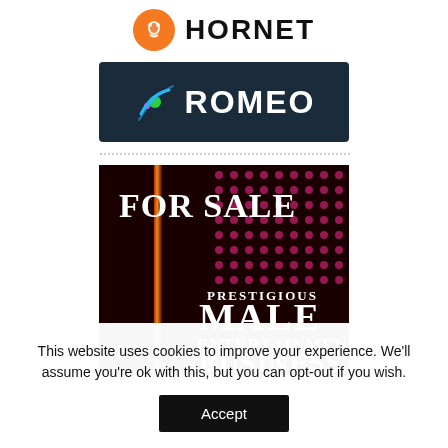[Figure (logo): Hornet app logo: orange circle icon with figure and HORNET text in bold black]
[Figure (logo): Romeo app logo: dark navy/teal background with concentric arc icon and ROMEO text in white bold]
[Figure (illustration): Advertisement image with dark background, pink dots pattern, text reading FOR SALE PRESTIGIOUS MALE ENTERTAINMENT BUSINESS]
This website uses cookies to improve your experience. We'll assume you're ok with this, but you can opt-out if you wish.
Accept